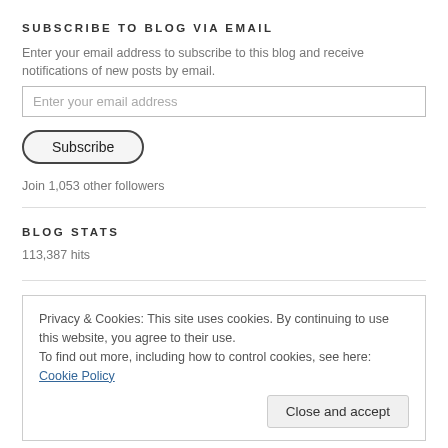SUBSCRIBE TO BLOG VIA EMAIL
Enter your email address to subscribe to this blog and receive notifications of new posts by email.
Join 1,053 other followers
BLOG STATS
113,387 hits
Privacy & Cookies: This site uses cookies. By continuing to use this website, you agree to their use.
To find out more, including how to control cookies, see here: Cookie Policy
Close and accept